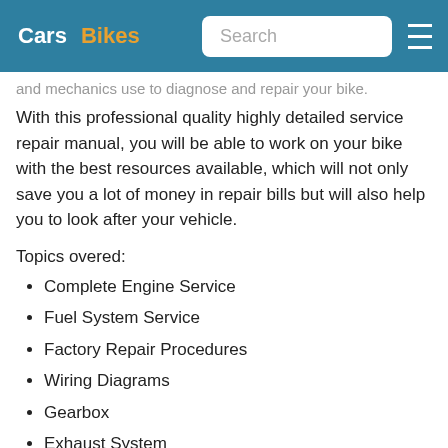Cars  Bikes  Search
and mechanics use to diagnose and repair your bike. With this professional quality highly detailed service repair manual, you will be able to work on your bike with the best resources available, which will not only save you a lot of money in repair bills but will also help you to look after your vehicle.
Topics overed:
Complete Engine Service
Fuel System Service
Factory Repair Procedures
Wiring Diagrams
Gearbox
Exhaust System
Suspension
Fault Finding
Clutch Removal and Installation